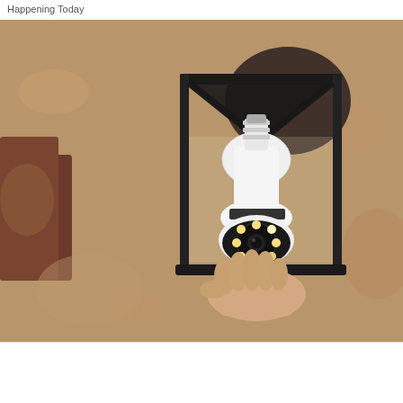Happening Today
[Figure (photo): A white light bulb security camera being installed into a black metal outdoor lantern fixture mounted on a textured stucco wall. The camera has a circular lens array at the bottom. A hand is visible holding the bulb-shaped camera device.]
Home Light Bulb Camera For Easy Installation.
Keilini